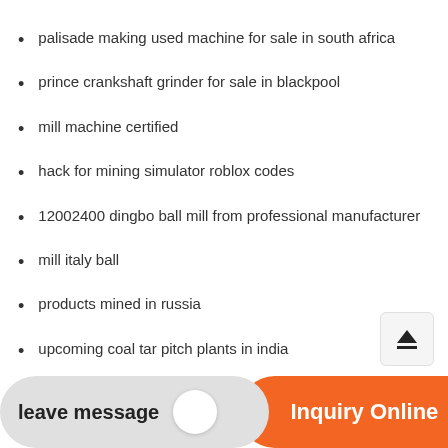palisade making used machine for sale in south africa
prince crankshaft grinder for sale in blackpool
mill machine certified
hack for mining simulator roblox codes
12002400 dingbo ball mill from professional manufacturer
mill italy ball
products mined in russia
upcoming coal tar pitch plants in india